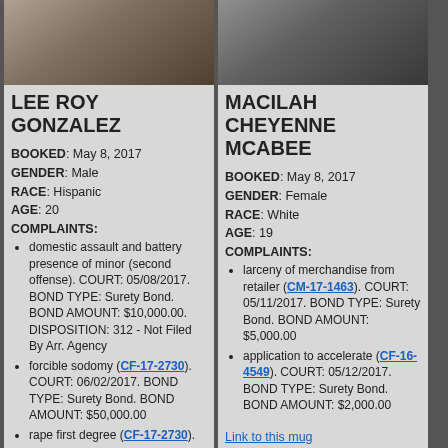[Figure (photo): Mugshot photo of Lee Roy Gonzalez]
LEE ROY GONZALEZ
BOOKED: May 8, 2017
GENDER: Male
RACE: Hispanic
AGE: 20
COMPLAINTS:
domestic assault and battery presence of minor (second offense). COURT: 05/08/2017. BOND TYPE: Surety Bond. BOND AMOUNT: $10,000.00. DISPOSITION: 312 - Not Filed By Arr. Agency
forcible sodomy (CF-17-2730). COURT: 06/02/2017. BOND TYPE: Surety Bond. BOND AMOUNT: $50,000.00
rape first degree (CF-17-2730).
[Figure (photo): Mugshot photo of Macilah Cheyenne McAbee]
MACILAH CHEYENNE MCABEE
BOOKED: May 8, 2017
GENDER: Female
RACE: White
AGE: 19
COMPLAINTS:
larceny of merchandise from retailer (CM-17-1463). COURT: 05/11/2017. BOND TYPE: Surety Bond. BOND AMOUNT: $5,000.00
application to accelerate (CF-16-4549). COURT: 05/12/2017. BOND TYPE: Surety Bond. BOND AMOUNT: $2,000.00
Link to this mug